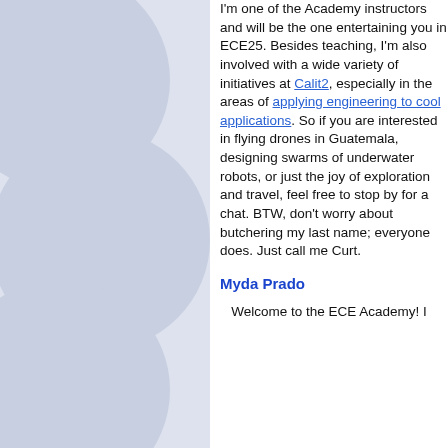[Figure (illustration): Light blue/grey background with overlapping circle shapes arranged vertically on the left panel]
I'm one of the Academy instructors and will be the one entertaining you in ECE25. Besides teaching, I'm also involved with a wide variety of initiatives at Calit2, especially in the areas of applying engineering to cool applications. So if you are interested in flying drones in Guatemala, designing swarms of underwater robots, or just the joy of exploration and travel, feel free to stop by for a chat. BTW, don't worry about butchering my last name; everyone does. Just call me Curt.
Myda Prado
Welcome to the ECE Academy! I